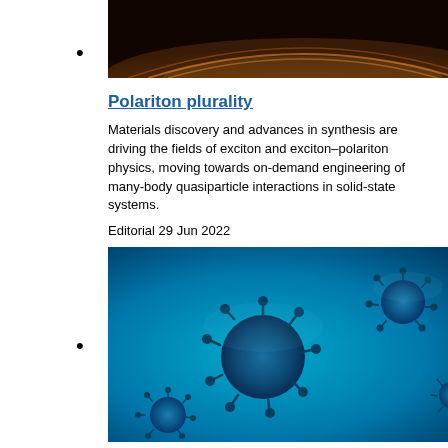[Figure (photo): Abstract glowing orange/amber light pattern against dark background, reminiscent of a polariton or wave interference image]
Polariton plurality
Materials discovery and advances in synthesis are driving the fields of exciton and exciton–polariton physics, moving towards on-demand engineering of many-body quasiparticle interactions in solid-state systems.
Editorial 29 Jun 2022
[Figure (photo): Blue microscopy image of coronavirus (COVID-19) particles — spiky spherical virus structures on a blue background]
Materials at the heart of the COVID-19 pandemic
Materials scientists have played a key role in the global response to the COVID-19 pandemic from the development of vaccines and diagnostic tools to the rapid prototyping of